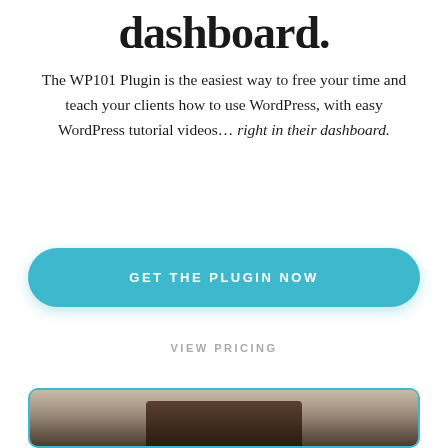dashboard.
The WP101 Plugin is the easiest way to free your time and teach your clients how to use WordPress, with easy WordPress tutorial videos… right in their dashboard.
GET THE PLUGIN NOW
VIEW PRICING
[Figure (photo): Partial view of a photo showing a dark object on a light background, inside a rounded teal-bordered frame]